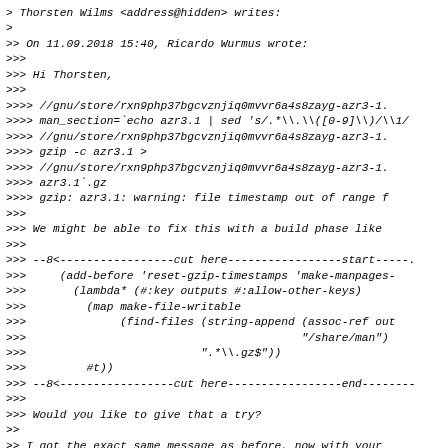> Thorsten Wilms <address@hidden> writes:
>
>> On 11.09.2018 15:40, Ricardo Wurmus wrote:
>>>
>>> Hi Thorsten,
>>>
>>>> //gnu/store/rxn9php37bgcvznjiq0mvvr6a4s8zayg-azr3-1.
>>>> man_section=`echo azr3.1 | sed 's/.*\.\([0-9]\)/\1/
>>>> //gnu/store/rxn9php37bgcvznjiq0mvvr6a4s8zayg-azr3-1.
>>>> gzip -c azr3.1 >
>>>> //gnu/store/rxn9php37bgcvznjiq0mvvr6a4s8zayg-azr3-1.
>>>> azr3.1`.gz
>>>> gzip: azr3.1: warning: file timestamp out of range f
>>>
>>> We might be able to fix this with a build phase like
>>>
>>> --8<-----------------cut here-----------------start------
>>>     (add-before 'reset-gzip-timestamps 'make-manpages-
>>>       (lambda* (#:key outputs #:allow-other-keys)
>>>         (map make-file-writable
>>>              (find-files (string-append (assoc-ref out
>>>                                         "/share/man")
>>>                          ".*\\.gz$"))
>>>         #t))
>>> --8<-----------------cut here-----------------end--------
>>>
>>> Would you like to give that a try?
>>
>> I got the exact same message as before, now with your
>> as follows, testing via